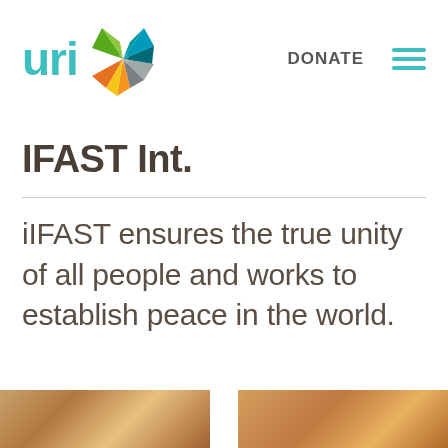[Figure (logo): URI logo: 'uri' text in teal with colorful pinwheel/star graphic in green, blue, teal, yellow, orange, gray]
DONATE  ≡
IFAST Int.
iIFAST ensures the true unity of all people and works to establish peace in the world.
[Figure (photo): Two partial photo thumbnails at bottom of page showing people, warm tones]